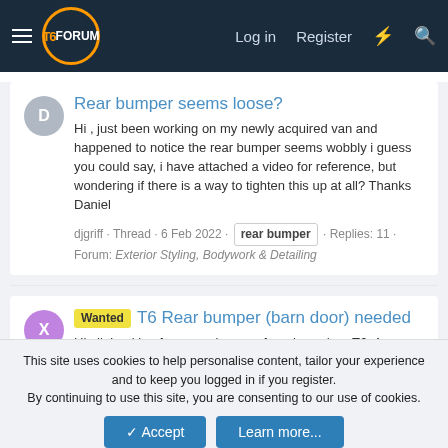T6FORUM — Log in  Register
Rear bumper seems loose?
Hi , just been working on my newly acquired van and happened to notice the rear bumper seems wobbly i guess you could say, i have attached a video for reference, but wondering if there is a way to tighten this up at all? Thanks Daniel
djgriff · Thread · 6 Feb 2022 · rear bumper · Replies: 11 · Forum: Exterior Styling, Bodywork & Detailing
Wanted T6 Rear bumper (barn door) needed
Hi all, Looking for a rear bumper for a barn door T6. Any colour is fine - it just can't be the black plastic version from the Startline Thanks!
xpfloyd · Thread · 3 Feb 2022 · rear bumper · Replies: 7 · Forum: For Sale/Wanted Threads
This site uses cookies to help personalise content, tailor your experience and to keep you logged in if you register.
By continuing to use this site, you are consenting to our use of cookies.